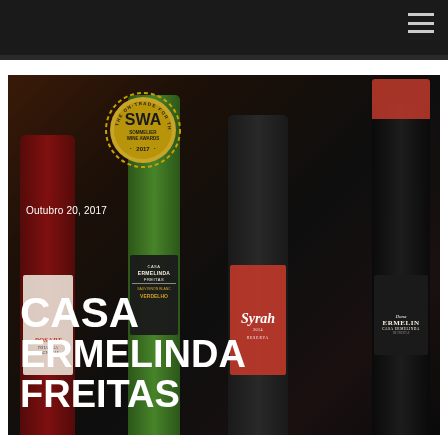[Figure (photo): Wine bottles of Casa Ermelinda Freitas displayed together including Rosart Touriga Nacional, Casa Ermelinda Freitas Sauvignon Blanc Verdelho, Syrah Reserva 2014, and Dona Ermelinda wines, with a SWA Sommelier Wine Awards 2017 medal overlay]
Outubro 20, 2017
CASA ERMELINDA FREITAS